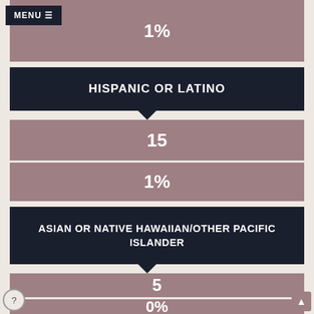1%
HISPANIC OR LATINO
15
1%
ASIAN OR NATIVE HAWAIIAN/OTHER PACIFIC ISLANDER
5
0%